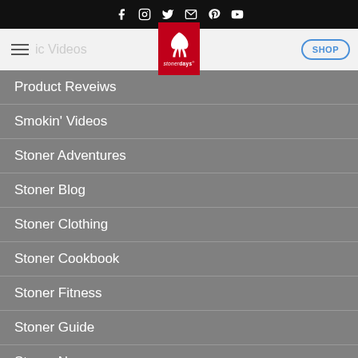Social icons: Facebook, Instagram, Twitter, Email, Pinterest, YouTube
[Figure (logo): StonerDays logo with cannabis leaf on red background, hamburger menu, SHOP button]
Product Reveiws
Smokin' Videos
Stoner Adventures
Stoner Blog
Stoner Clothing
Stoner Cookbook
Stoner Fitness
Stoner Guide
Stoner News
Stoner Pictures Updated Daily